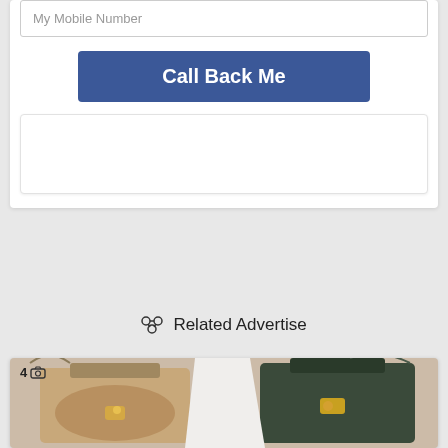My Mobile Number
Call Back Me
Related Advertise
[Figure (photo): Product photo showing two handbags/purses side by side with gold hardware, one brown/tan and one dark green/black, with photo count indicator showing 4 photos]